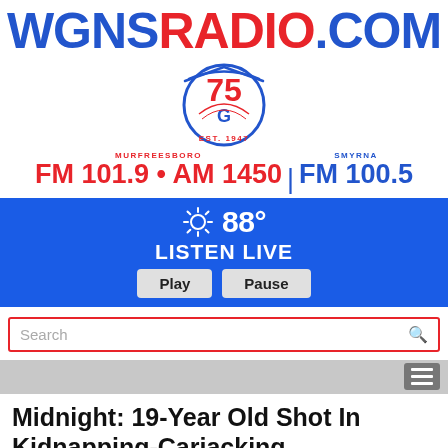[Figure (logo): WGNS Radio website header logo with wordmark WGNSRADIO.COM in blue and red, a 75th anniversary badge with EST. 1947, and frequency information: Murfreesboro FM 101.9 • AM 1450 | Smyrna FM 100.5]
☀ 88°
LISTEN LIVE
Play   Pause
Search
Midnight: 19-Year Old Shot In Kidnapping-Carjacking